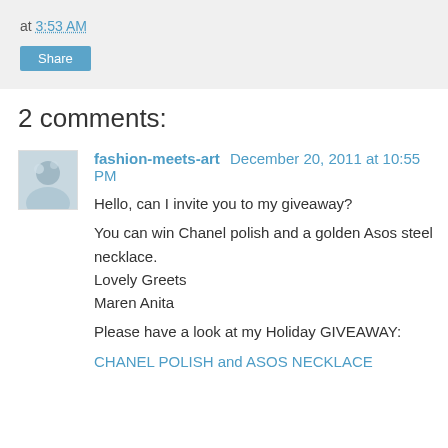at 3:53 AM
Share
2 comments:
fashion-meets-art December 20, 2011 at 10:55 PM
Hello, can I invite you to my giveaway?

You can win Chanel polish and a golden Asos steel necklace.
Lovely Greets
Maren Anita

Please have a look at my Holiday GIVEAWAY:
CHANEL POLISH and ASOS NECKLACE